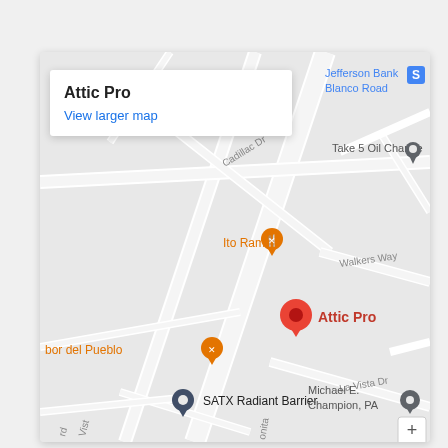[Figure (map): Google Maps screenshot showing Attic Pro location in San Antonio area. Map shows streets including Cadillac Dr, Walkers Way, La Vista Dr. Nearby businesses: Jefferson Bank Blanco Road, Take 5 Oil Change, Ito Ramen, bor del Pueblo, SATX Radiant Barrier, Michael E. Champion PA. Red pin marks Attic Pro. Info box in upper left shows 'Attic Pro' and 'View larger map' link.]